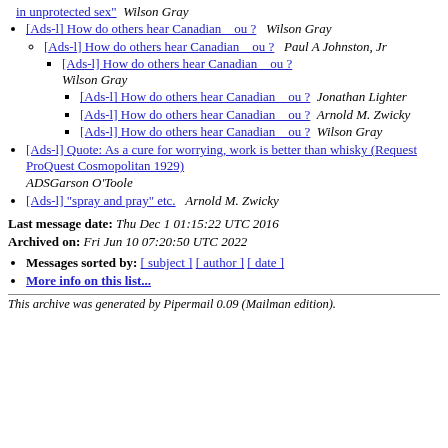[Ads-l] How do others hear Canadian ou ? Wilson Gray
[Ads-l] How do others hear Canadian ou ? Paul A Johnston, Jr
[Ads-l] How do others hear Canadian ou ? Wilson Gray
[Ads-l] How do others hear Canadian ou ? Jonathan Lighter
[Ads-l] How do others hear Canadian ou ? Arnold M. Zwicky
[Ads-l] How do others hear Canadian ou ? Wilson Gray
[Ads-l] Quote: As a cure for worrying, work is better than whisky (Request ProQuest Cosmopolitan 1929) ADSGarson O'Toole
[Ads-l] "spray and pray" etc. Arnold M. Zwicky
Last message date: Thu Dec 1 01:15:22 UTC 2016
Archived on: Fri Jun 10 07:20:50 UTC 2022
Messages sorted by: [ subject ] [ author ] [ date ]
More info on this list...
This archive was generated by Pipermail 0.09 (Mailman edition).